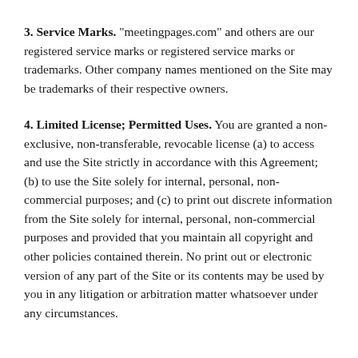3. Service Marks. "meetingpages.com" and others are our registered service marks or registered service marks or trademarks. Other company names mentioned on the Site may be trademarks of their respective owners.
4. Limited License; Permitted Uses. You are granted a non-exclusive, non-transferable, revocable license (a) to access and use the Site strictly in accordance with this Agreement; (b) to use the Site solely for internal, personal, non-commercial purposes; and (c) to print out discrete information from the Site solely for internal, personal, non-commercial purposes and provided that you maintain all copyright and other policies contained therein. No print out or electronic version of any part of the Site or its contents may be used by you in any litigation or arbitration matter whatsoever under any circumstances.